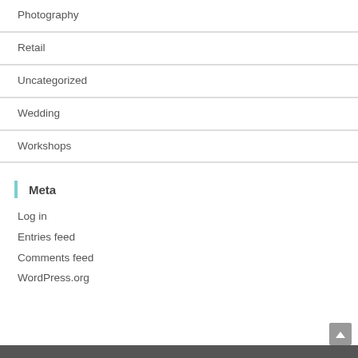Photography
Retail
Uncategorized
Wedding
Workshops
Meta
Log in
Entries feed
Comments feed
WordPress.org